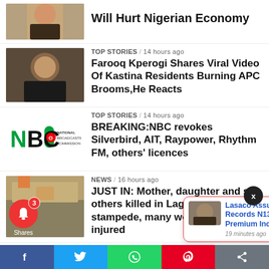[Figure (photo): Partial top thumbnail, person visible, cropped at top]
Will Hurt Nigerian Economy
[Figure (photo): Man in suit smiling]
TOP STORIES / 14 hours ago
Farooq Kperogi Shares Viral Video Of Kastina Residents Burning APC Brooms,He Reacts
[Figure (logo): NBC National Broadcasting Commission logo]
TOP STORIES / 14 hours ago
BREAKING:NBC revokes Silverbird, AIT, Raypower, Rhythm FM, others' licences
[Figure (photo): Market/street scene photo]
NEWS / 16 hours ago
JUST IN: Mother, daughter and six others killed in Lagos church stampede, many worshippers injured
[Figure (photo): Donald Trump in profile photo]
TOP STORIES / 17 hours ago
Judge says he's inclined to unseal part of Trump search warrant affidavit
[Figure (photo): Partial thumbnail at bottom]
JO...
N...
[Figure (photo): Popup card image - crowd/gathering]
Lasaco Assurance Records N13.3bn Premium Income
19 minutes ago